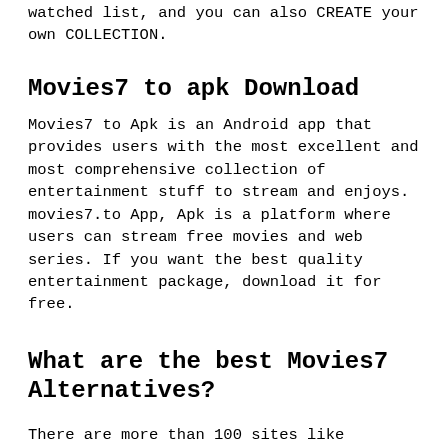watched list, and you can also CREATE your own COLLECTION.
Movies7 to apk Download
Movies7 to Apk is an Android app that provides users with the most excellent and most comprehensive collection of entertainment stuff to stream and enjoys. movies7.to App, Apk is a platform where users can stream free movies and web series. If you want the best quality entertainment package, download it for free.
What are the best Movies7 Alternatives?
There are more than 100 sites like Movies7, but we sort only 30 top sites to watch